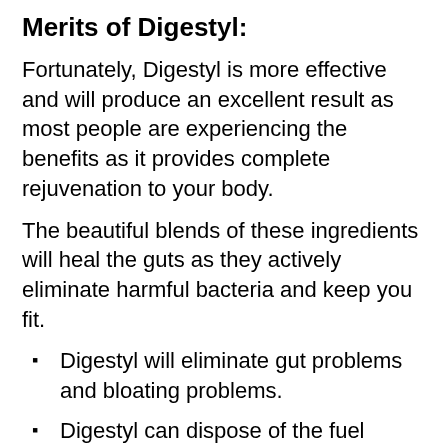Merits of Digestyl:
Fortunately, Digestyl is more effective and will produce an excellent result as most people are experiencing the benefits as it provides complete rejuvenation to your body.
The beautiful blends of these ingredients will heal the guts as they actively eliminate harmful bacteria and keep you fit.
Digestyl will eliminate gut problems and bloating problems.
Digestyl can dispose of the fuel formation in the belly
After proper use, you will get relief from constipation, anal fissures, or hemorrhoidal crises.